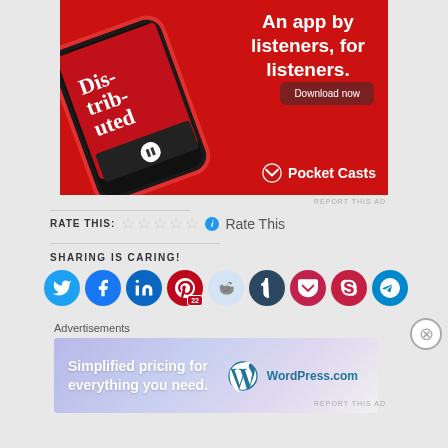[Figure (photo): Pocket Casts podcast app advertisement on red background. Shows a smartphone with the app open displaying 'Distributed' podcast. Text reads 'An app by listeners, for listeners.' with a 'Download now' button and Pocket Casts logo.]
REPORT THIS AD
RATE THIS: ☆☆☆☆☆ ℹ Rate This
SHARING IS CARING!
[Figure (infographic): Row of social sharing buttons: Twitter, Facebook, LinkedIn, Pinterest (22), Reddit, Tumblr, Pocket, Skype, Telegram]
Advertisements
[Figure (photo): WordPress.com advertisement: 'Simplified pricing for everything you need.' with WordPress logo on gradient purple/blue background.]
REPORT THIS AD